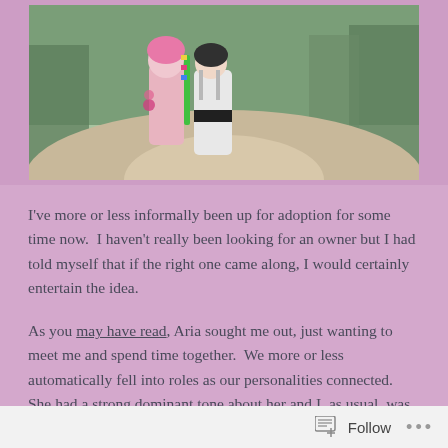[Figure (photo): Screenshot of a blog or social media post showing two animated/game characters from behind walking on a path through a forest scene. One character has pink hair and colorful accessories, the other wears a white and black dress.]
I've more or less informally been up for adoption for some time now.  I haven't really been looking for an owner but I had told myself that if the right one came along, I would certainly entertain the idea.
As you may have read, Aria sought me out, just wanting to meet me and spend time together.  We more or less automatically fell into roles as our personalities connected.  She had a strong dominant tone about her and I, as usual, was submissive and followed her lead.
Follow